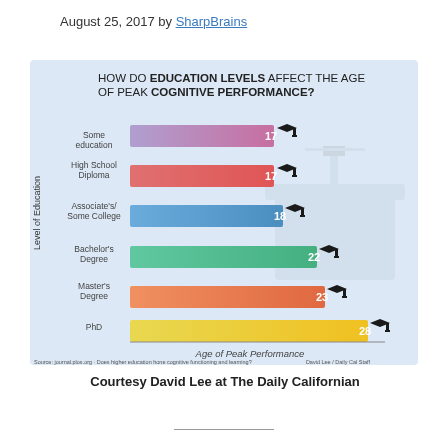August 25, 2017 by SharpBrains
[Figure (bar-chart): HOW DO EDUCATION LEVELS AFFECT THE AGE OF PEAK COGNITIVE PERFORMANCE?]
Courtesy David Lee at The Daily Californian